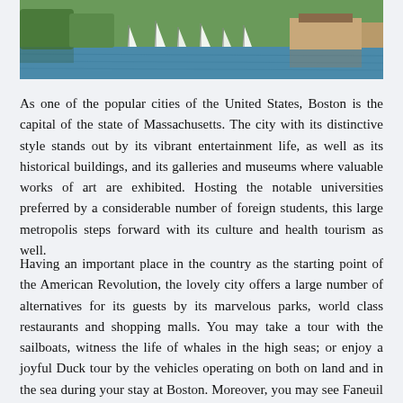[Figure (photo): Aerial or lakeside photo showing sailboats on water with trees and buildings along the shore, likely Boston area.]
As one of the popular cities of the United States, Boston is the capital of the state of Massachusetts. The city with its distinctive style stands out by its vibrant entertainment life, as well as its historical buildings, and its galleries and museums where valuable works of art are exhibited. Hosting the notable universities preferred by a considerable number of foreign students, this large metropolis steps forward with its culture and health tourism as well.
Having an important place in the country as the starting point of the American Revolution, the lovely city offers a large number of alternatives for its guests by its marvelous parks, world class restaurants and shopping malls. You may take a tour with the sailboats, witness the life of whales in the high seas; or enjoy a joyful Duck tour by the vehicles operating on both on land and in the sea during your stay at Boston. Moreover, you may see Faneuil Hall, a market and meeting place, together with Boston National Historical Park and Quincy Market, a historic covered market; or follow the Freedom Trail connecting 16 historic sites. It is also recommendable to visit the Museum of Fine Arts and